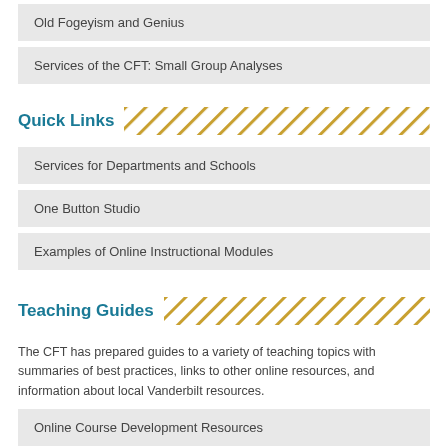Old Fogeyism and Genius
Services of the CFT: Small Group Analyses
Quick Links
Services for Departments and Schools
One Button Studio
Examples of Online Instructional Modules
Teaching Guides
The CFT has prepared guides to a variety of teaching topics with summaries of best practices, links to other online resources, and information about local Vanderbilt resources.
Online Course Development Resources